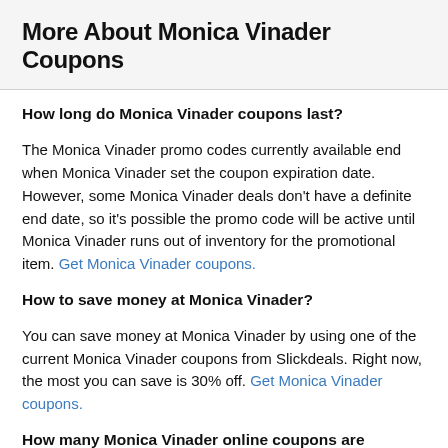More About Monica Vinader Coupons
How long do Monica Vinader coupons last?
The Monica Vinader promo codes currently available end when Monica Vinader set the coupon expiration date. However, some Monica Vinader deals don't have a definite end date, so it's possible the promo code will be active until Monica Vinader runs out of inventory for the promotional item. Get Monica Vinader coupons.
How to save money at Monica Vinader?
You can save money at Monica Vinader by using one of the current Monica Vinader coupons from Slickdeals. Right now, the most you can save is 30% off. Get Monica Vinader coupons.
How many Monica Vinader online coupons are available?
There are currently 6 Monica Vinader online coupons reported by Monica Vinader. These deal offers are available online, including 1 coupon codes. Today alone,